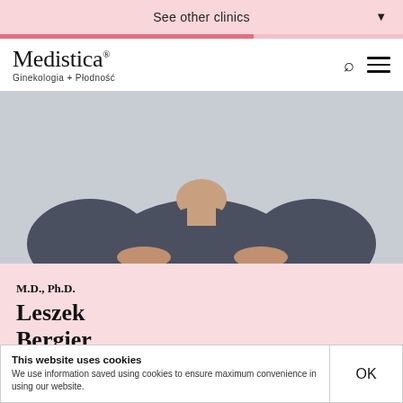See other clinics
[Figure (photo): Photo of Dr. Leszek Bergier in a dark grey t-shirt, cropped from chest/shoulders area, grey background]
M.D., Ph.D.
Leszek Bergier
andrologist
This website uses cookies
We use information saved using cookies to ensure maximum convenience in using our website.